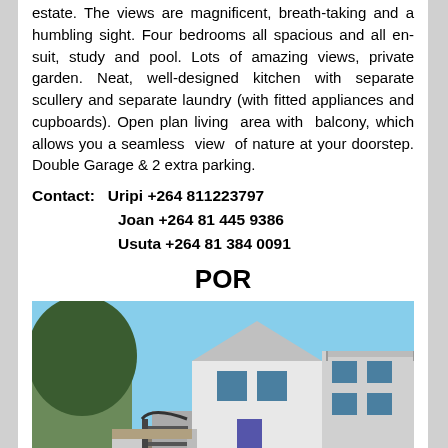estate. The views are magnificent, breath-taking and a humbling sight. Four bedrooms all spacious and all en-suit, study and pool. Lots of amazing views, private garden. Neat, well-designed kitchen with separate scullery and separate laundry (with fitted appliances and cupboards). Open plan living area with balcony, which allows you a seamless view of nature at your doorstep. Double Garage & 2 extra parking.
Contact: Uripi +264 811223797
Joan +264 81 445 9386
Usuta +264 81 384 0091
POR
[Figure (photo): Exterior photo of a large white modern house with blue windows, balconies, a gated entrance, and trees in the background under a blue sky.]